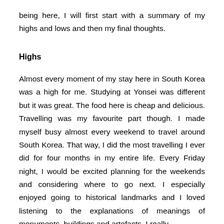being here, I will first start with a summary of my highs and lows and then my final thoughts.
Highs
Almost every moment of my stay here in South Korea was a high for me. Studying at Yonsei was different but it was great. The food here is cheap and delicious. Travelling was my favourite part though. I made myself busy almost every weekend to travel around South Korea. That way, I did the most travelling I ever did for four months in my entire life. Every Friday night, I would be excited planning for the weekends and considering where to go next. I especially enjoyed going to historical landmarks and I loved listening to the explanations of meanings of monuments, buildings and artefacts. I really